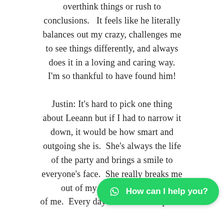overthink things or rush to conclusions.  It feels like he literally balances out my crazy, challenges me to see things differently, and always does it in a loving and caring way.  I'm so thankful to have found him!

Justin: It's hard to pick one thing about Leeann but if I had to narrow it down, it would be how smart and outgoing she is.  She's always the life of the party and brings a smile to everyone's face.  She really breaks me out of my shell a... of me.  Every day she makes me proud
[Figure (other): WhatsApp chat button overlay: green rounded button with WhatsApp icon and text 'How can I help you?']